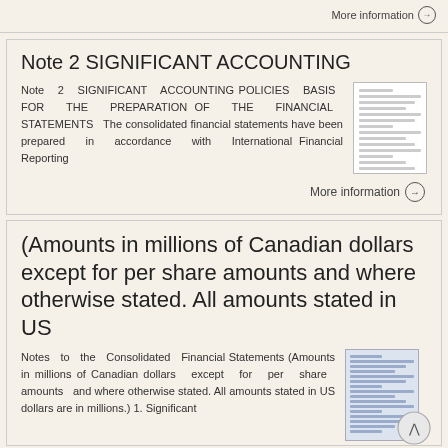More information →
Note 2 SIGNIFICANT ACCOUNTING
Note 2 SIGNIFICANT ACCOUNTING POLICIES BASIS FOR THE PREPARATION OF THE FINANCIAL STATEMENTS The consolidated financial statements have been prepared in accordance with International Financial Reporting
More information →
(Amounts in millions of Canadian dollars except for per share amounts and where otherwise stated. All amounts stated in US
Notes to the Consolidated Financial Statements (Amounts in millions of Canadian dollars except for per share amounts and where otherwise stated. All amounts stated in US dollars are in millions.) 1. Significant